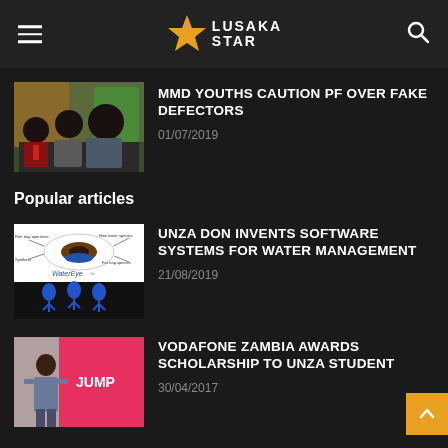Lusaka Star
[Figure (photo): Three men sitting, news article thumbnail for MMD Youths story]
MMD YOUTHS CAUTION PF OVER FAKE DEFECTORS
01/07/2019
Popular articles
[Figure (illustration): WaterEye software diagram showing water management system with fish-eye lens illustration and blue figures below]
UNZA DON INVENTS SOFTWARE SYSTEMS FOR WATER MANAGEMENT
21/08/2019
[Figure (photo): Person standing next to a pink banner with JUMP text, Vodafone Zambia scholarship article thumbnail]
VODAFONE ZAMBIA AWARDS SCHOLARSHIP TO UNZA STUDENT
30/04/2017